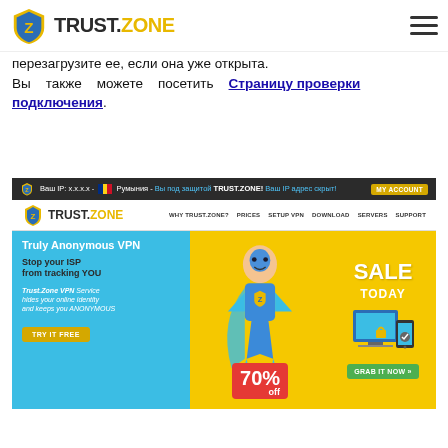TRUST.ZONE
перезагрузите ее, если она уже открыта.
Вы также можете посетить Страницу проверки подключения.
[Figure (screenshot): Screenshot of Trust.Zone VPN website showing navigation bar, IP protection status bar, and promotional banner with 'Truly Anonymous VPN', 'Stop your ISP from tracking YOU', 'SALE TODAY 70% off', and 'GRAB IT NOW' button.]